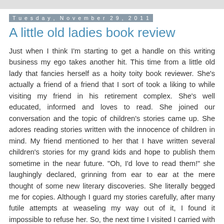Tuesday, November 29, 2011
A little old ladies book review
Just when I think I'm starting to get a handle on this writing business my ego takes another hit. This time from a little old lady that fancies herself as a hoity toity book reviewer. She's actually a friend of a friend that I sort of took a liking to while visiting my friend in his retirement complex. She's well educated, informed and loves to read. She joined our conversation and the topic of children's stories came up. She adores reading stories written with the innocence of children in mind. My friend mentioned to her that I have written several children's stories for my grand kids and hope to publish them sometime in the near future. "Oh, I'd love to read them!" she laughingly declared, grinning from ear to ear at the mere thought of some new literary discoveries. She literally begged me for copies. Although I guard my stories carefully, after many futile attempts at weaseling my way out of it, I found it impossible to refuse her. So, the next time I visited I carried with me copies of a few of my stories,